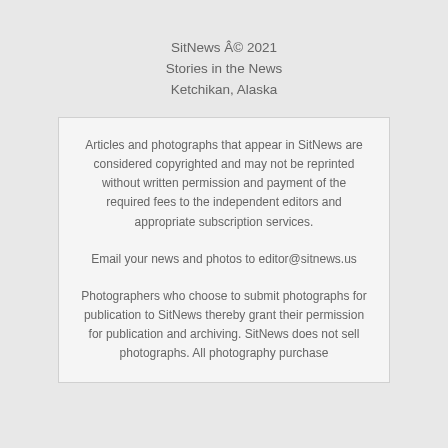SitNews Â© 2021
Stories in the News
Ketchikan, Alaska
Articles and photographs that appear in SitNews are considered copyrighted and may not be reprinted without written permission and payment of the required fees to the independent editors and appropriate subscription services.
Email your news and photos to editor@sitnews.us
Photographers who choose to submit photographs for publication to SitNews thereby grant their permission for publication and archiving. SitNews does not sell photographs. All photography purchase